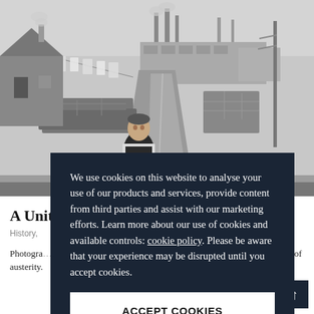[Figure (photo): Black and white photograph of a young boy standing on a road holding a metal frame/cart, with stone walls, laundry hanging on a line, houses, and industrial chimneys in the background. A rural British industrial landscape.]
A Unite... rait Of 1960s B...
History,
Photogra... iting London, t... rait of Britain as... traumas of war and decades of austerity.
We use cookies on this website to analyse your use of our products and services, provide content from third parties and assist with our marketing efforts. Learn more about our use of cookies and available controls: cookie policy. Please be aware that your experience may be disrupted until you accept cookies.
ACCEPT COOKIES